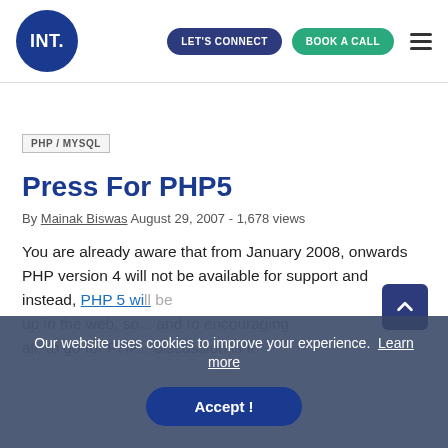INT. | LET'S CONNECT | BOOK A CALL
PHP / MYSQL
Press For PHP5
By Mainak Biswas August 29, 2007 - 1,678 views
You are already aware that from January 2008, onwards PHP version 4 will not be available for support and instead, PHP 5 will be...
Our website uses cookies to improve your experience. Learn more
Accept !